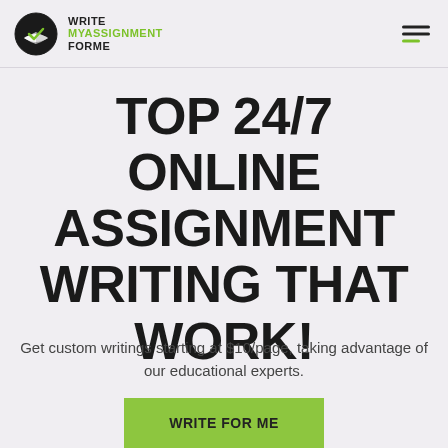[Figure (logo): Write MyAssignment ForMe logo with circular icon containing a checkmark and open book, and text WRITE MYASSIGNMENT FORME]
TOP 24/7 ONLINE ASSIGNMENT WRITING THAT WORK!
Get custom writings starting at $10/page, taking advantage of our educational experts.
WRITE FOR ME